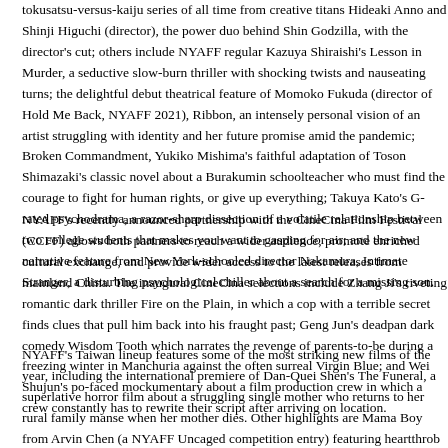tokusatsu-versus-kaiju series of all time from creative titans Hideaki Anno and Shinji Higuchi (director), the power duo behind Shin Godzilla, with the director's cut; others include NYAFF regular Kazuya Shiraishi's Lesson in Murder, a seductive slow-burn thriller with shocking twists and nauseating turns; the delightful debut theatrical feature of Momoko Fukuda (director of Hold Me Back, NYAFF 2021), Ribbon, an intensely personal vision of an artist struggling with identity and her future promise amid the pandemic; Broken Commandment, Yukiko Mishima's faithful adaptation of Toson Shimazaki's classic novel about a Burakumin schoolteacher who must find the courage to fight for human rights, or give up everything; Takuya Kato's G-rated psychodrama, a razor-sharp dissection of a volatile relationship between two college students that makes you want to gasp for air; and the new narrative feature from New York-schooled director Kohei Nakamura, Intimate Stranger, a disturbing psychological chiller about a search for a missing son.
NYAFF's recently announced partnership with the CineCina Film Festival (CCFF) allows both partners to reach a wider audience, promote enriched cultural exchange, and provide wider access to the latest releases from mainland China. The inaugural CineCina selections include Zhang Ji's riveting romantic dark thriller Fire on the Plain, in which a cop with a terrible secret finds clues that pull him back into his fraught past; Geng Jun's deadpan dark comedy Wisdom Tooth which narrates the revenge of parents-to-be during a freezing winter in Manchuria against the often surreal Virgin Blue; and Wei Shujun's po-faced mockumentary about a film production crew in which a crew constantly has to rewrite their script after arriving on location.
NYAFF's Taiwan lineup features some of the most striking new films of the year, including the international premiere of Dan-Quei Shen's The Funeral, a superlative horror film about a struggling single mother who returns to her rural family manse when her mother dies. Other highlights are Mama Boy from Arvin Chen (a NYAFF Uncaged competition entry) featuring heartthrob Kai Ko as the titular young man who falls for singer-actress Wu in his most mature role age at 29; and Terrorizers from Ho Wi Ding (100, NYAFF 2012), with Austin